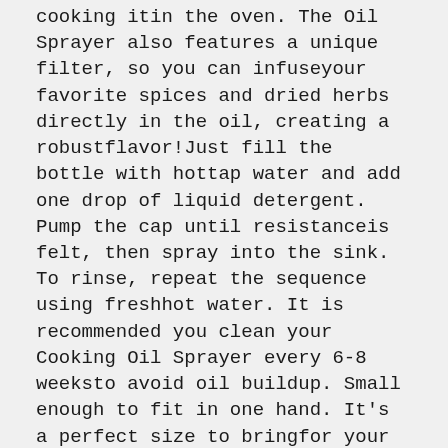cooking itin the oven. The Oil Sprayer also features a unique filter, so you can infuseyour favorite spices and dried herbs directly in the oil, creating a robustflavor!Just fill the bottle with hottap water and add one drop of liquid detergent. Pump the cap until resistanceis felt, then spray into the sink. To rinse, repeat the sequence using freshhot water. It is recommended you clean your Cooking Oil Sprayer every 6-8 weeksto avoid oil buildup. Small enough to fit in one hand. It's a perfect size to bringfor your favorite choice of oil or salad dressings at a picnic or to use whilegrilling on the BBQ.
Highlights
Product type: BBQ Baking Olive Oil Spray Bottle